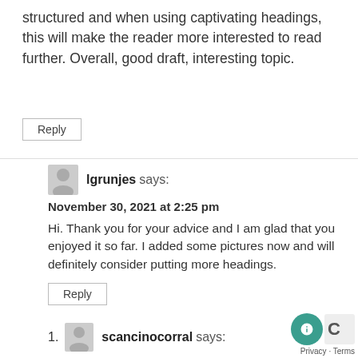structured and when using captivating headings, this will make the reader more interested to read further. Overall, good draft, interesting topic.
Reply
lgrunjes says:
November 30, 2021 at 2:25 pm
Hi. Thank you for your advice and I am glad that you enjoyed it so far. I added some pictures now and will definitely consider putting more headings.
Reply
scancinocorral says: